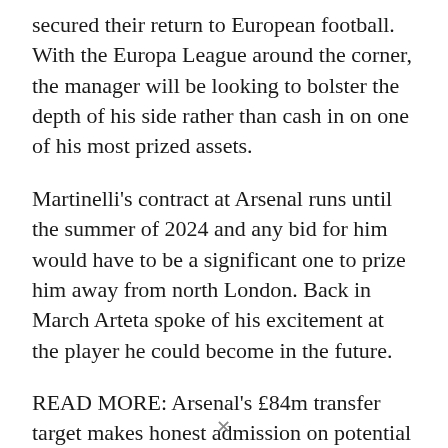secured their return to European football. With the Europa League around the corner, the manager will be looking to bolster the depth of his side rather than cash in on one of his most prized assets.
Martinelli's contract at Arsenal runs until the summer of 2024 and any bid for him would have to be a significant one to prize him away from north London. Back in March Arteta spoke of his excitement at the player he could become in the future.
READ MORE: Arsenal's £84m transfer target makes honest admission on potential summer switch
“He’s shown big signs of where he’s moving. His